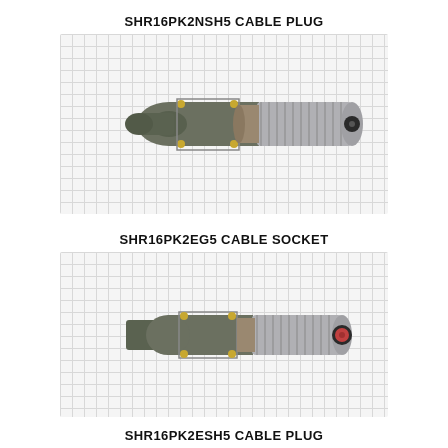SHR16PK2NSH5 CABLE PLUG
[Figure (photo): Photo of SHR16PK2NSH5 cable plug connector on grid background. A military-style circular connector with threaded silver coupling nut, olive drab/grey body with gold-colored screws, and male pin insert visible at the threaded end.]
SHR16PK2EG5 CABLE SOCKET
[Figure (photo): Photo of SHR16PK2EG5 cable socket connector on grid background. A military-style circular connector with threaded silver coupling nut, olive drab/grey body with gold-colored screws, and female socket insert with red/pink seal visible at the threaded end.]
SHR16PK2ESH5 CABLE PLUG